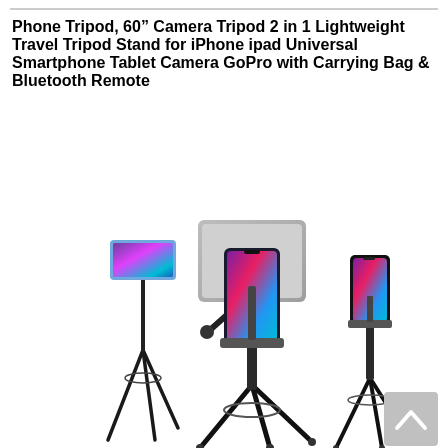Phone Tripod, 60" Camera Tripod 2 in 1 Lightweight Travel Tripod Stand for iPhone ipad Universal Smartphone Tablet Camera GoPro with Carrying Bag & Bluetooth Remote
[Figure (photo): Product photo showing three tripods: left tripod with phone holder mounted horizontally, center large tripod with both a tablet and phone mounted on the head, right medium tripod with a phone mounted. All tripods are black against a white background. A grey scroll-to-top button with a white chevron is in the bottom right corner.]